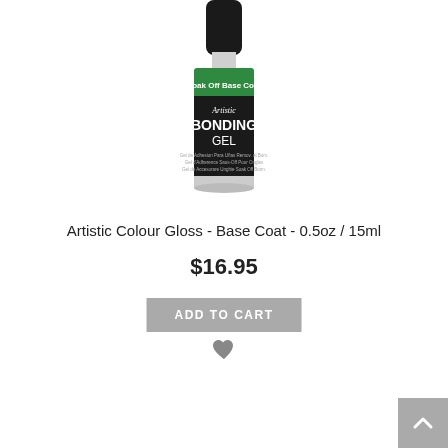[Figure (photo): A bottle of Artistic Colour Gloss Bonding Gel nail product with a black cap and green label band reading 'Soak Off Base Coat', black label with white text reading 'Artistic BONDING GEL']
Artistic Colour Gloss - Base Coat - 0.5oz / 15ml
$16.95
ADD TO CART